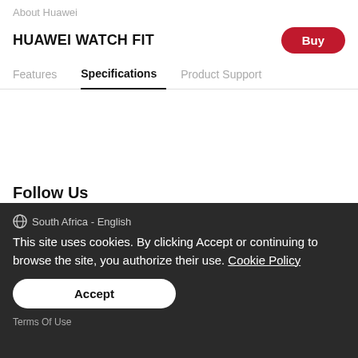About Huawei
HUAWEI WATCH FIT
Features   Specifications   Product Support
Follow Us
[Figure (illustration): Social media icons: Facebook, Twitter, YouTube, Instagram]
South Africa - English
This site uses cookies. By clicking Accept or continuing to browse the site, you authorize their use. Cookie Policy
Accept
Terms Of Use